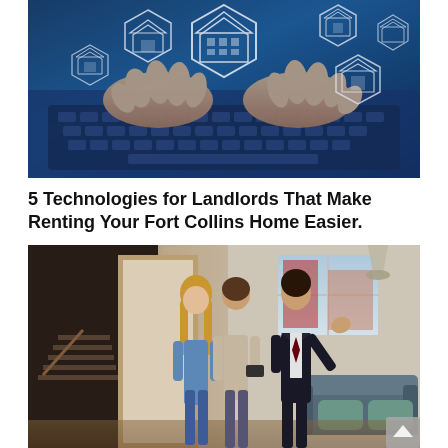[Figure (photo): Hands typing on a laptop keyboard with floating holographic house icons in hexagonal frames overlaid on a blue-toned background, representing property technology.]
5 Technologies for Landlords That Make Renting Your Fort Collins Home Easier.
[Figure (photo): A real estate agent in a dark suit gesturing with his hand while showing a modern apartment interior to a couple (a woman with long blonde hair and a man), standing in a doorway with a bright living room visible in the background.]